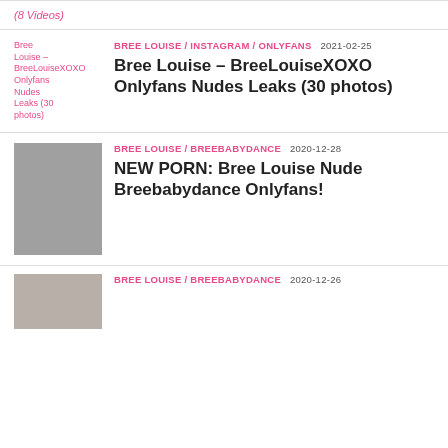(8 Videos)
BREE LOUISE / INSTAGRAM / ONLYFANS   2021-02-25
Bree Louise – BreeLouiseXOXO Onlyfans Nudes Leaks (30 photos)
BREE LOUISE / BREEBABYDANCE   2020-12-28
NEW PORN: Bree Louise Nude Breebabydance Onlyfans!
BREE LOUISE / BREEBABYDANCE   2020-12-26